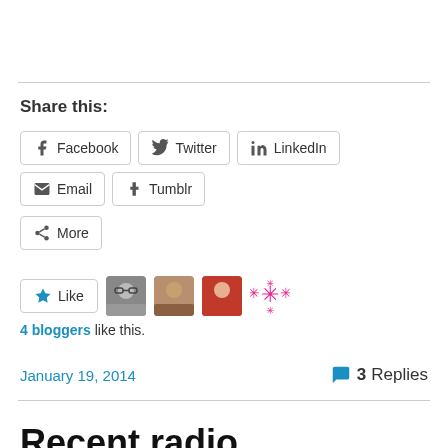Share this:
Facebook  Twitter  LinkedIn  Email  Tumblr  More
Like  4 bloggers like this.
January 19, 2014
3 Replies
Recent radio appearances: Archives